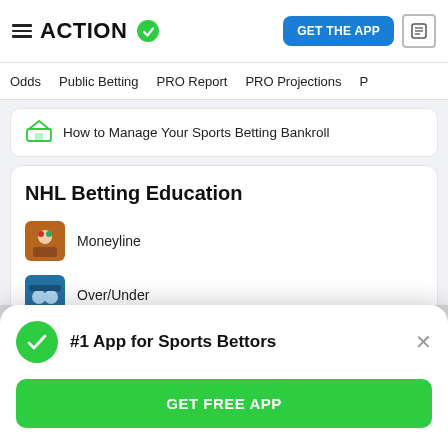ACTION (logo with checkmark) | GET THE APP | News icon
Odds   Public Betting   PRO Report   PRO Projections
How to Manage Your Sports Betting Bankroll
NHL Betting Education
Moneyline
Over/Under
#1 App for Sports Bettors
GET FREE APP